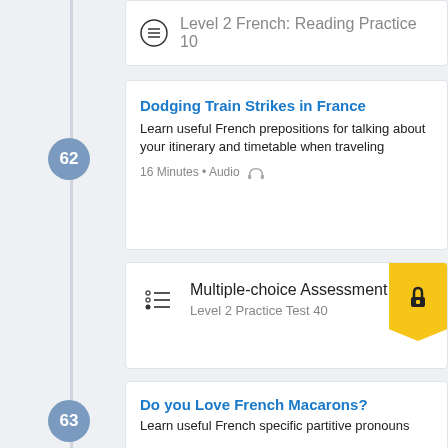[Figure (screenshot): Partial lesson card at top showing reading practice item]
62 – Dodging Train Strikes in France: Learn useful French prepositions for talking about your itinerary and timetable when traveling. 16 Minutes • Audio
[Figure (screenshot): Multiple-choice Assessment card: Level 2 Practice Test 40, with lock icon]
63 – Do you Love French Macarons?: Learn useful French specific partitive pronouns. 14 Minutes • Audio
A Nice French Boy After All!